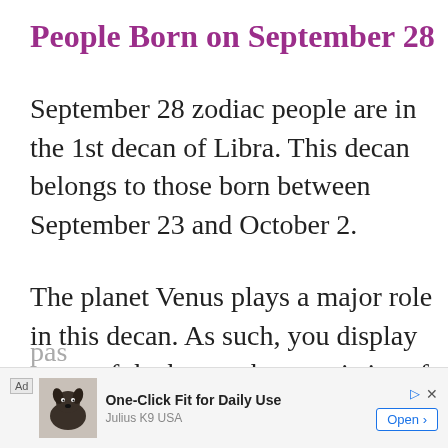People Born on September 28
September 28 zodiac people are in the 1st decan of Libra. This decan belongs to those born between September 23 and October 2.
The planet Venus plays a major role in this decan. As such, you display some of the better characteristics of this celestial body. For example, you are affectionate, understanding, and
pas
[Figure (other): Advertisement banner for Julius K9 USA showing a dog and text 'One-Click Fit for Daily Use' with an Open button]